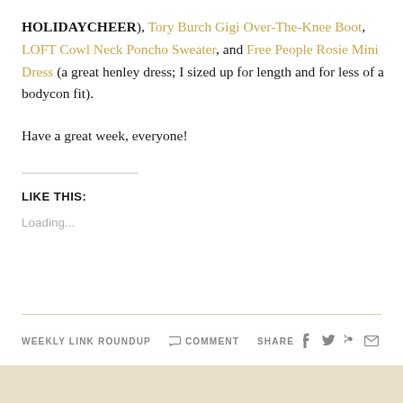HOLIDAYCHEER), Tory Burch Gigi Over-The-Knee Boot, LOFT Cowl Neck Poncho Sweater, and Free People Rosie Mini Dress (a great henley dress; I sized up for length and for less of a bodycon fit).
Have a great week, everyone!
LIKE THIS:
Loading...
WEEKLY LINK ROUNDUP   COMMENT   SHARE